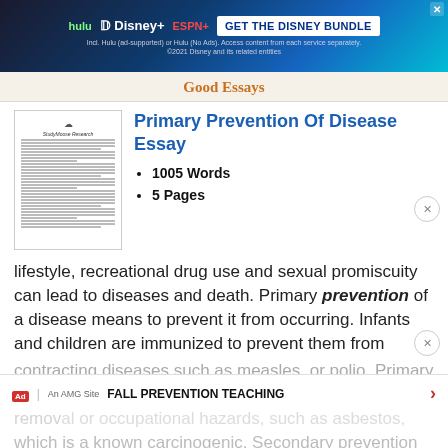[Figure (screenshot): Disney Bundle advertisement banner with Hulu, Disney+, and ESPN+ logos and 'GET THE DISNEY BUNDLE' call to action]
Good Essays
[Figure (photo): Thumbnail preview of a StudyMoose Research document page]
Primary Prevention Of Disease Essay
1005 Words
5 Pages
lifestyle, recreational drug use and sexual promiscuity can lead to diseases and death. Primary prevention of a disease means to prevent it from occurring. Infants and children are immunized to prevent them from contracting diseases such as measles, or polio. Primary prevention teaching would include removal of occupational hazards, such as asbestos, which is a known carcinogenic. Secondary prevention
FALL PREVENTION TEACHING
Ad | An AMG Site